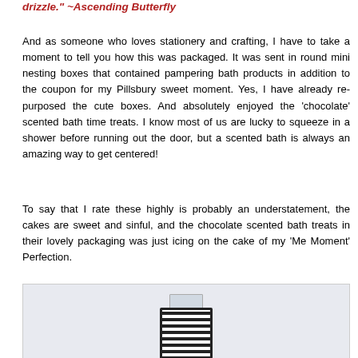drizzle." ~Ascending Butterfly
And as someone who loves stationery and crafting, I have to take a moment to tell you how this was packaged. It was sent in round mini nesting boxes that contained pampering bath products in addition to the coupon for my Pillsbury sweet moment. Yes, I have already re-purposed the cute boxes. And absolutely enjoyed the 'chocolate' scented bath time treats. I know most of us are lucky to squeeze in a shower before running out the door, but a scented bath is always an amazing way to get centered!
To say that I rate these highly is probably an understatement, the cakes are sweet and sinful, and the chocolate scented bath treats in their lovely packaging was just icing on the cake of my 'Me Moment' Perfection.
[Figure (photo): Photo of a striped round gift box with a wrapped package on top, set against a light blue/grey background.]